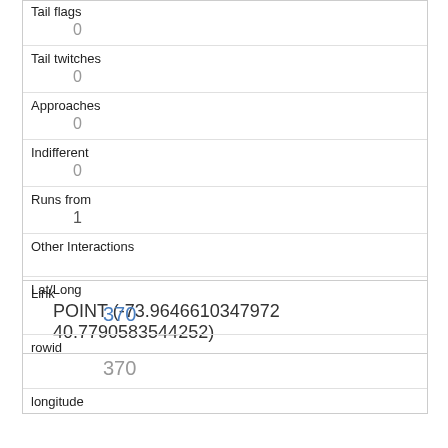| Tail flags | 0 |
| Tail twitches | 0 |
| Approaches | 0 |
| Indifferent | 0 |
| Runs from | 1 |
| Other Interactions |  |
| Lat/Long | POINT (-73.9646610347972 40.7790583544252) |
| Link | 370 |
| rowid | 370 |
| longitude |  |